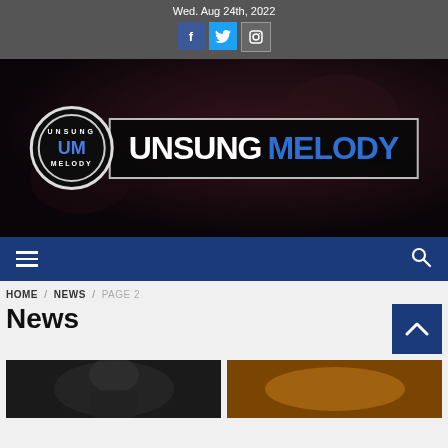Wed. Aug 24th, 2022
[Figure (logo): Unsung Melody website header logo with circular UM badge and text logo on dark background with musicians]
[Figure (infographic): Navigation bar with hamburger menu icon and search icon on dark blue background]
HOME / NEWS / PAGE 2
News
[Figure (photo): Black and white photo thumbnail (left)]
[Figure (photo): Color photo thumbnail (right)]